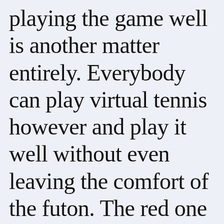playing the game well is another matter entirely. Everybody can play virtual tennis however and play it well without even leaving the comfort of the futon. The red one